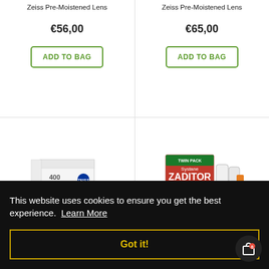Zeiss Pre-Moistened Lens
€56,00
ADD TO BAG
Zeiss Pre-Moistened Lens
€65,00
ADD TO BAG
[Figure (photo): Zeiss lens wipes product box, white, labeled 400]
€59,00
[Figure (photo): Systane Zaditor Eye Itch Relief twin pack product box with two eye drop bottles]
Eye
€51,00
This website uses cookies to ensure you get the best experience. Learn More
Got it!